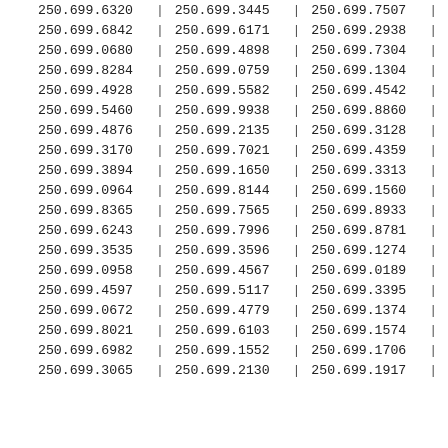| col1 | sep1 | col2 | sep2 | col3 | sep3 |
| --- | --- | --- | --- | --- | --- |
| 250.699.6320 | | | 250.699.3445 | | | 250.699.7507 | | |
| 250.699.6842 | | | 250.699.6171 | | | 250.699.2938 | | |
| 250.699.0680 | | | 250.699.4898 | | | 250.699.7304 | | |
| 250.699.8284 | | | 250.699.0759 | | | 250.699.1304 | | |
| 250.699.4928 | | | 250.699.5582 | | | 250.699.4542 | | |
| 250.699.5460 | | | 250.699.9938 | | | 250.699.8860 | | |
| 250.699.4876 | | | 250.699.2135 | | | 250.699.3128 | | |
| 250.699.3170 | | | 250.699.7021 | | | 250.699.4359 | | |
| 250.699.3894 | | | 250.699.1650 | | | 250.699.3313 | | |
| 250.699.0964 | | | 250.699.8144 | | | 250.699.1560 | | |
| 250.699.8365 | | | 250.699.7565 | | | 250.699.8933 | | |
| 250.699.6243 | | | 250.699.7996 | | | 250.699.8781 | | |
| 250.699.3535 | | | 250.699.3596 | | | 250.699.1274 | | |
| 250.699.0958 | | | 250.699.4567 | | | 250.699.0189 | | |
| 250.699.4597 | | | 250.699.5117 | | | 250.699.3395 | | |
| 250.699.0672 | | | 250.699.4779 | | | 250.699.1374 | | |
| 250.699.8021 | | | 250.699.6103 | | | 250.699.1574 | | |
| 250.699.6982 | | | 250.699.1552 | | | 250.699.1706 | | |
| 250.699.3065 | | | 250.699.2130 | | | 250.699.1917 | | |